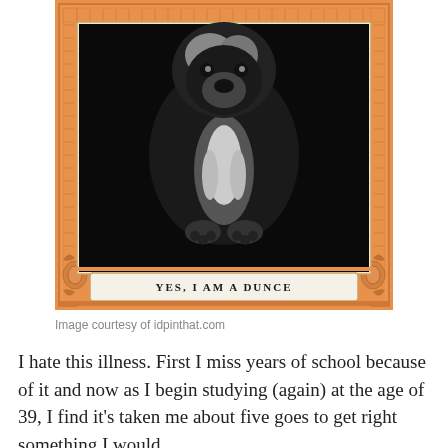[Figure (photo): Vintage black and white photograph of a dog (terrier-type) facing forward, set inside an ornate orange decorative border/frame. At the bottom of the frame, a label reads: YES, I AM A DUNCE]
Image courtesy of idpinthat.com
I hate this illness. First I miss years of school because of it and now as I begin studying (again) at the age of 39, I find it's taken me about five goes to get right something I would